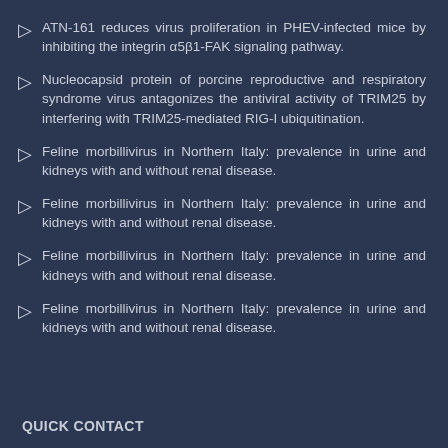ATN-161 reduces virus proliferation in PHEV-infected mice by inhibiting the integrin α5β1-FAK signaling pathway.
Nucleocapsid protein of porcine reproductive and respiratory syndrome virus antagonizes the antiviral activity of TRIM25 by interfering with TRIM25-mediated RIG-I ubiquitination.
Feline morbillivirus in Northern Italy: prevalence in urine and kidneys with and without renal disease.
Feline morbillivirus in Northern Italy: prevalence in urine and kidneys with and without renal disease.
Feline morbillivirus in Northern Italy: prevalence in urine and kidneys with and without renal disease.
Feline morbillivirus in Northern Italy: prevalence in urine and kidneys with and without renal disease.
QUICK CONTACT